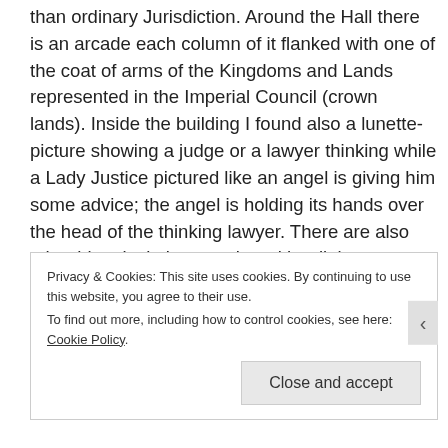than ordinary Jurisdiction. Around the Hall there is an arcade each column of it flanked with one of the coat of arms of the Kingdoms and Lands represented in the Imperial Council (crown lands). Inside the building I found also a lunette-picture showing a judge or a lawyer thinking while a Lady Justice pictured like an angel is giving him some advice; the angel is holding its hands over the head of the thinking lawyer. There are also other historical pictures also with religious contexts. Above the windows of the first floor the facade is decorated with a pair of scales. However compared with the Italian
Privacy & Cookies: This site uses cookies. By continuing to use this website, you agree to their use. To find out more, including how to control cookies, see here: Cookie Policy